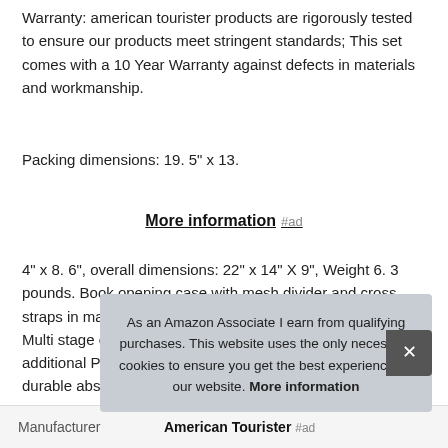Warranty: american tourister products are rigorously tested to ensure our products meet stringent standards; This set comes with a 10 Year Warranty against defects in materials and workmanship.
Packing dimensions: 19. 5" x 13.
More information #ad
4" x 8. 6", overall dimensions: 22" x 14" X 9", Weight 6. 3 pounds. Book opening case with mesh divider and cross straps in main compartment with a zipped modesty Pocket. Multi stage ergonomic trolley handle. Expansion for additional Packing capacity; Volume : 42 Litres. Rugged and durable abs she
As an Amazon Associate I earn from qualifying purchases. This website uses the only necessary cookies to ensure you get the best experience on our website. More information
| Manufacturer |  |
| --- | --- |
| Manufacturer | American Tourister #ad |